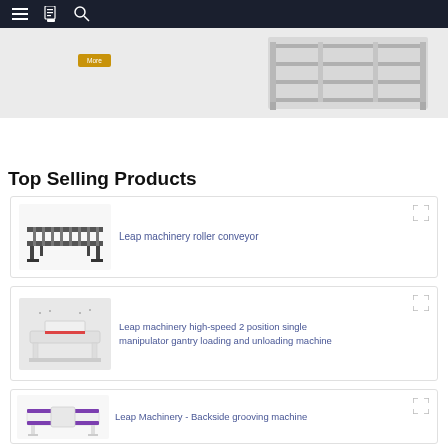Navigation bar with menu, catalog, and search icons
[Figure (screenshot): Hero banner showing industrial machinery (shelf/rack unit) with a gold 'More' button on a light grey background]
Top Selling Products
[Figure (photo): Product card: Leap machinery roller conveyor — photo of a roller conveyor table with metal frame]
Leap machinery roller conveyor
[Figure (photo): Product card: Leap machinery high-speed 2 position single manipulator gantry loading and unloading machine — photo of white industrial gantry machine]
Leap machinery high-speed 2 position single manipulator gantry loading and unloading machine
[Figure (photo): Product card: Leap Machinery - Backside grooving machine — photo of white machine with purple accents]
Leap Machinery - Backside grooving machine